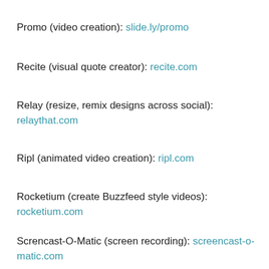Promo (video creation): slide.ly/promo
Recite (visual quote creator): recite.com
Relay (resize, remix designs across social): relaythat.com
Ripl (animated video creation): ripl.com
Rocketium (create Buzzfeed style videos): rocketium.com
Screncast-O-Matic (screen recording): screencast-o-matic.com
Smartmockups (create product/post screen shots):